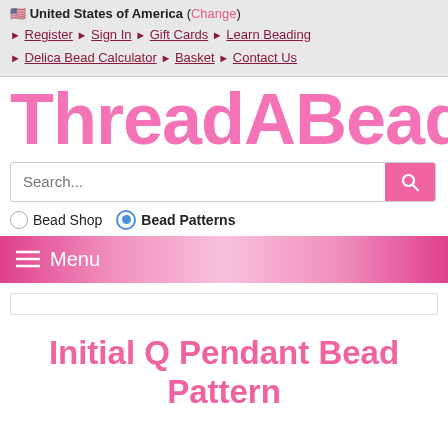🇺🇸 United States of America (Change)
Register | Sign In | Gift Cards | Learn Beading | Delica Bead Calculator | Basket | Contact Us
[Figure (logo): ThreadABead logo in large pink bold lettering]
Search...
Bead Shop (radio unchecked)  Bead Patterns (radio checked)
≡ Menu
Initial Q Pendant Bead Pattern